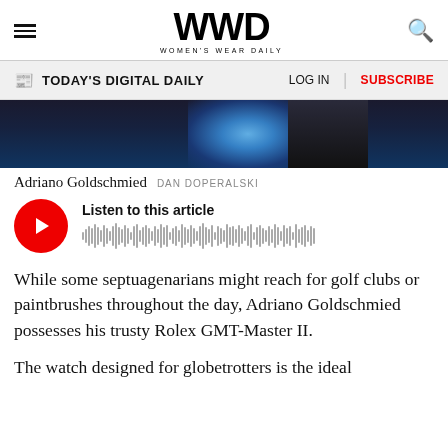WWD Women's Wear Daily
[Figure (screenshot): Navigation bar with TODAY'S DIGITAL DAILY, LOG IN, and SUBSCRIBE links]
[Figure (photo): Hero image with dark background and blue glowing light, partial figure silhouette]
Adriano Goldschmied  DAN DOPERALSKI
[Figure (infographic): Audio player with red circular play button, 'Listen to this article' label and waveform]
While some septuagenarians might reach for golf clubs or paintbrushes throughout the day, Adriano Goldschmied possesses his trusty Rolex GMT-Master II.
The watch designed for globetrotters is the ideal